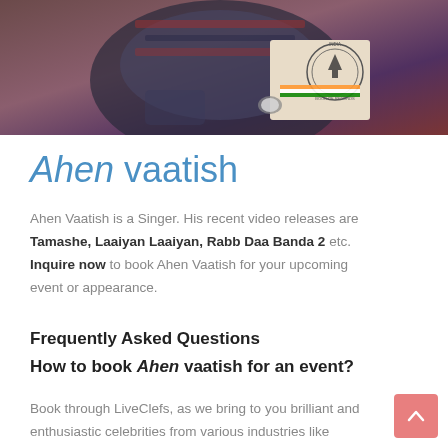[Figure (photo): Person wearing a patterned sweater holding an India Book of Records certificate/book with an Indian flag ribbon, seated in a studio-like setting with dark background]
Ahen vaatish
Ahen Vaatish is a Singer. His recent video releases are Tamashe, Laaiyan Laaiyan, Rabb Daa Banda 2 etc. Inquire now to book Ahen Vaatish for your upcoming event or appearance.
Frequently Asked Questions
How to book Ahen vaatish for an event?
Book through LiveClefs, as we bring to you brilliant and enthusiastic celebrities from various industries like